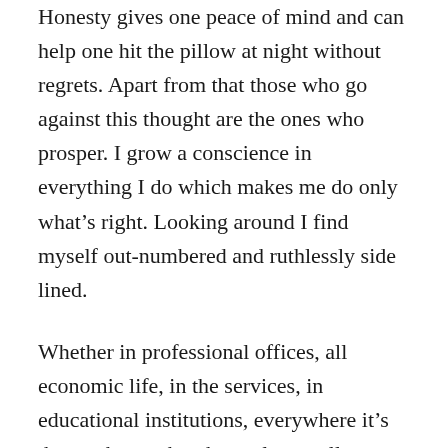Honesty gives one peace of mind and can help one hit the pillow at night without regrets. Apart from that those who go against this thought are the ones who prosper. I grow a conscience in everything I do which makes me do only what’s right. Looking around I find myself out-numbered and ruthlessly side lined.
Whether in professional offices, all economic life, in the services, in educational institutions, everywhere it’s those who market themselves well, without content or substance but can verbalize their nonsense are considered worth listening too. Or those who by a crooks’ skill can take centre stage. Or those who plagiarize ideas and thoughts and project them to be theirs. Or those who are loud and unrelenting in